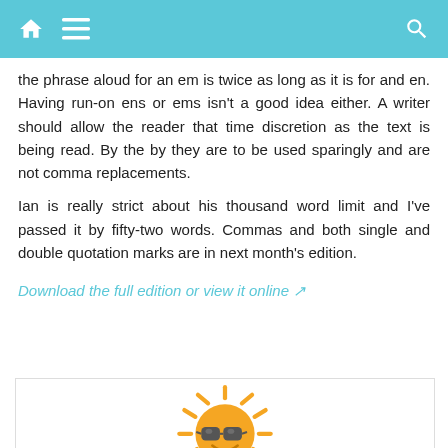the phrase aloud for an em is twice as long as it is for and en. Having run-on ens or ems isn't a good idea either. A writer should allow the reader that time discretion as the text is being read. By the by they are to be used sparingly and are not comma replacements.
Ian is really strict about his thousand word limit and I've passed it by fifty-two words. Commas and both single and double quotation marks are in next month's edition.
Download the full edition or view it online ↗
[Figure (illustration): A cartoon smiling sun wearing sunglasses with blue wave swoosh underneath, logo style illustration]